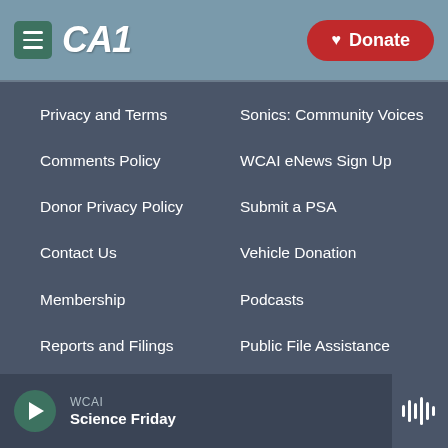[Figure (screenshot): WCAI public radio website header with hamburger menu icon, CAI logo, and red Donate button]
Privacy and Terms
Sonics: Community Voices
Comments Policy
WCAI eNews Sign Up
Donor Privacy Policy
Submit a PSA
Contact Us
Vehicle Donation
Membership
Podcasts
Reports and Filings
Public File Assistance
Employment
FCC Public Files
WCAI Science Friday